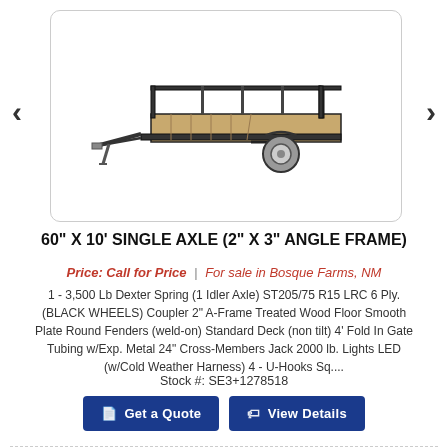[Figure (photo): Photo of a black utility trailer with wood floor deck, single axle, angle frame, shown from the side.]
60" X 10' SINGLE AXLE (2" X 3" ANGLE FRAME)
Price: Call for Price | For sale in Bosque Farms, NM
1 - 3,500 Lb Dexter Spring (1 Idler Axle) ST205/75 R15 LRC 6 Ply. (BLACK WHEELS) Coupler 2" A-Frame Treated Wood Floor Smooth Plate Round Fenders (weld-on) Standard Deck (non tilt) 4' Fold In Gate Tubing w/Exp. Metal 24" Cross-Members Jack 2000 lb. Lights LED (w/Cold Weather Harness) 4 - U-Hooks Sq....
Stock #: SE3+1278518